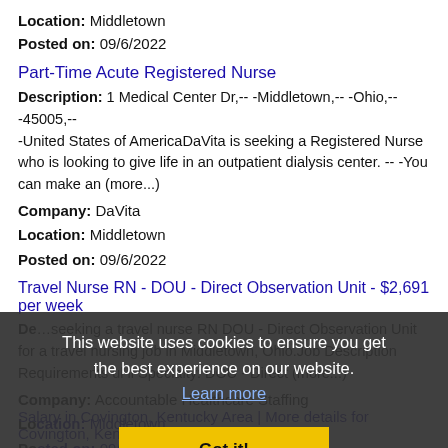Location: Middletown
Posted on: 09/6/2022
Part-Time Acute Registered Nurse
Description: 1 Medical Center Dr,-- -Middletown,-- -Ohio,-- -45005,-- -United States of AmericaDaVita is seeking a Registered Nurse who is looking to give life in an outpatient dialysis center. -- -You can make an (more...)
Company: DaVita
Location: Middletown
Posted on: 09/6/2022
Travel Nurse RN - DOU - Direct Observation Unit - $2,691 per week
Description: ...seeking a travel nurse RN DOU - Direct Observation Unit for a travel nursing job in Middletown, Ohio. Job Description Requirements ul li Specialty: DOU - Direct (more...)
Company: Accountable Healthcare Staffing
Location: Middletown
Posted on: 09/6/2022
This website uses cookies to ensure you get the best experience on our website. Learn more
Got it!
Salary in Covington, Kentucky Area | More details for Covington, Kentucky Jobs |Salary